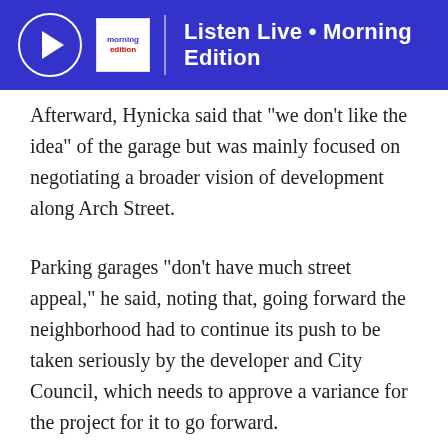Listen Live • Morning Edition
Afterward, Hynicka said that “we don’t like the idea” of the garage but was mainly focused on negotiating a broader vision of development along Arch Street.
Parking garages “don’t have much street appeal,” he said, noting that, going forward the neighborhood had to continue its push to be taken seriously by the developer and City Council, which needs to approve a variance for the project for it to go forward.
And aesthetically, Hynicka is concerned that a garage would ruin a beautiful view.
Just behind the church, along Arch Street, pedestrians can